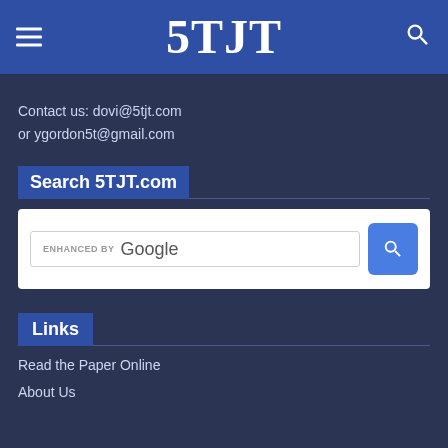5TJT
Contact us: dovi@5tjt.com
or ygordon5t@gmail.com
Search 5TJT.com
[Figure (screenshot): Google custom search box with 'ENHANCED BY Google' label and blue search button with magnifying glass icon]
Links
Read the Paper Online
About Us